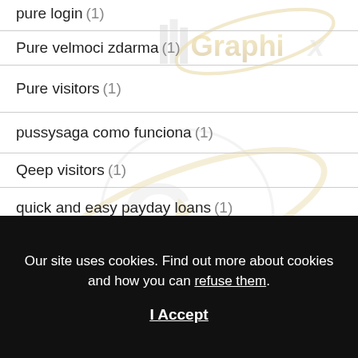pure login (1)
Pure velmoci zdarma (1)
Pure visitors (1)
pussysaga como funciona (1)
Qeep visitors (1)
quick and easy payday loans (1)
quick cash payday loans (3)
[Figure (logo): iGGraphix watermark logo appearing twice — gold and silver graphic design logo overlaid on list content]
Our site uses cookies. Find out more about cookies and how you can refuse them.
I Accept